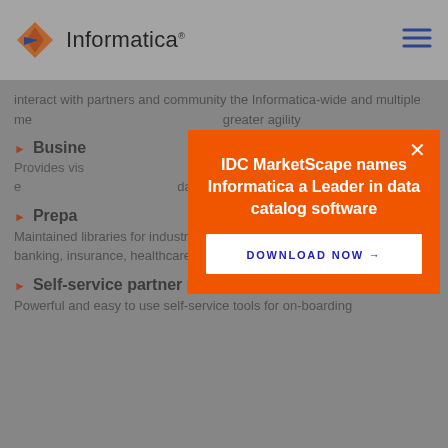Informatica
interact with partners and community the Informatica-wide and multiple me... greater agility
Busine...
Provides vis... nt into content at e... data
Prepa... ards
Maintained libraries for industry-specific data format standards for banking, insurance, healthcare, and manufacturing
Self-service partner portal
Powerful and easy to use self-service tools for on-boarding
[Figure (screenshot): Modal popup overlay on Informatica website. Orange modal with title 'IDC MarketScape names Informatica a Leader in data catalog software' and a 'DOWNLOAD NOW →' button. White X close button in top right of modal.]